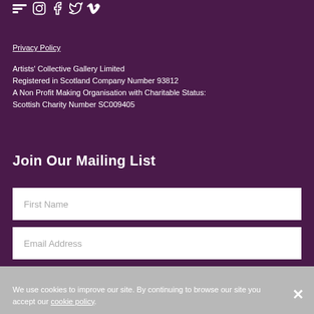[Figure (illustration): Social media icons row: a small logo icon, Instagram, Facebook, Twitter, Vimeo — all white on dark purple background]
Privacy Policy
Artists' Collective Gallery Limited
Registered in Scotland Company Number 93812
A Non Profit Making Organisation with Charitable Status:
Scottish Charity Number SC009405
Join Our Mailing List
First Name
Email Address
We use cookies to improve our site. By continuing to browse our site you accept our cookie policy.